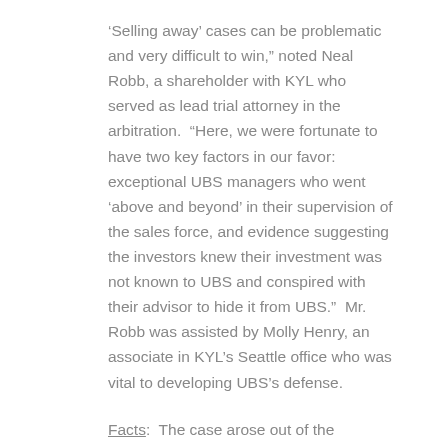‘Selling away’ cases can be problematic and very difficult to win,” noted Neal Robb, a shareholder with KYL who served as lead trial attorney in the arbitration. “Here, we were fortunate to have two key factors in our favor: exceptional UBS managers who went ‘above and beyond’ in their supervision of the sales force, and evidence suggesting the investors knew their investment was not known to UBS and conspired with their advisor to hide it from UBS.” Mr. Robb was assisted by Molly Henry, an associate in KYL’s Seattle office who was vital to developing UBS’s defense.
Facts: The case arose out of the purchase of an ownership interest in a small Oregon saw mill by Claimants Donald and Eileen Bowman. Their interest was purchased upon the recommendation of their UBS financial advisor. Their advisor was